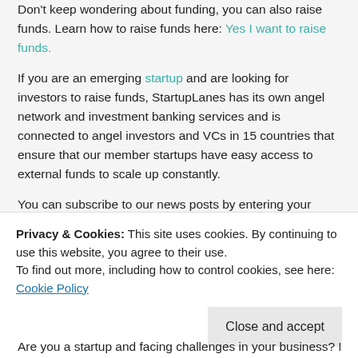Don't keep wondering about funding, you can also raise funds. Learn how to raise funds here: Yes I want to raise funds.
If you are an emerging startup and are looking for investors to raise funds, StartupLanes has its own angel network and investment banking services and is connected to angel investors and VCs in 15 countries that ensure that our member startups have easy access to external funds to scale up constantly.
You can subscribe to our news posts by entering your email in the box on the right side of this page.
Check out our YouTube channel for insightful content from the Indian startup ecosystem.
Join our Whatsapp group to interact with other founders. You t
Are you a startup and facing challenges in your business? Do you
Privacy & Cookies: This site uses cookies. By continuing to use this website, you agree to their use.
To find out more, including how to control cookies, see here: Cookie Policy